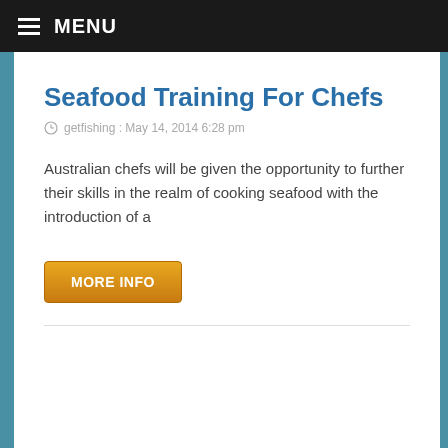MENU
Seafood Training For Chefs
getfishing : May 14, 2014 6:28 pm
Australian chefs will be given the opportunity to further their skills in the realm of cooking seafood with the introduction of a
MORE INFO